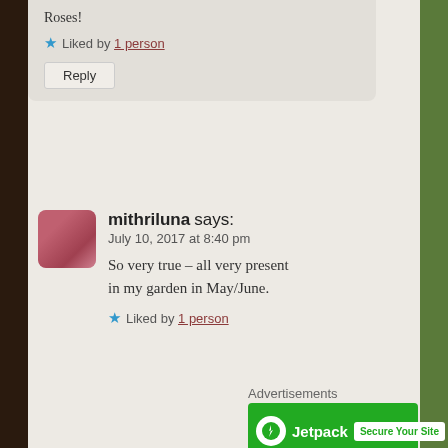Roses!
★ Liked by 1 person
Reply
mithriluna says:
July 10, 2017 at 8:40 pm
So very true – all very present in my garden in May/June.
★ Liked by 1 person
Advertisements
[Figure (other): Jetpack advertisement banner with green background, Jetpack logo and 'Secure Your Site' button]
Advertisements